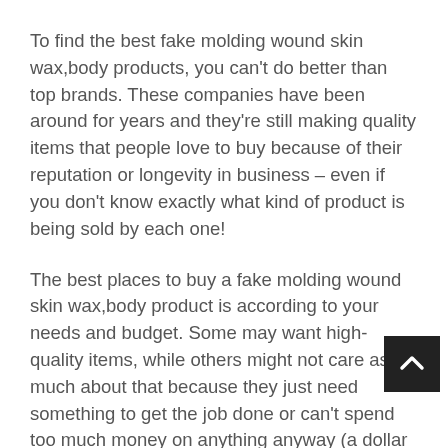To find the best fake molding wound skin wax,body products, you can't do better than top brands. These companies have been around for years and they're still making quality items that people love to buy because of their reputation or longevity in business – even if you don't know exactly what kind of product is being sold by each one!
The best places to buy a fake molding wound skin wax,body product is according to your needs and budget. Some may want high-quality items, while others might not care as much about that because they just need something to get the job done or can't spend too much money on anything anyway (a dollar saves ten cents after all).
It's important though; don't believe everything you see online when researching these companies – there could